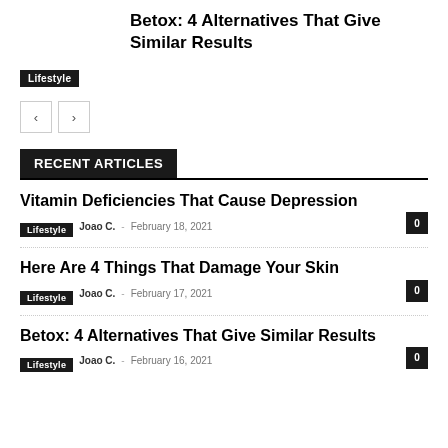Betox: 4 Alternatives That Give Similar Results
Lifestyle
RECENT ARTICLES
Vitamin Deficiencies That Cause Depression
Lifestyle  Joao C.  –  February 18, 2021   0
Here Are 4 Things That Damage Your Skin
Lifestyle  Joao C.  –  February 17, 2021   0
Betox: 4 Alternatives That Give Similar Results
Lifestyle  Joao C.  –  February 16, 2021   0